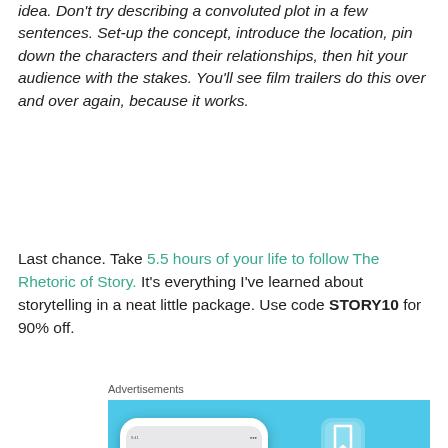idea. Don't try describing a convoluted plot in a few sentences. Set-up the concept, introduce the location, pin down the characters and their relationships, then hit your audience with the stakes. You'll see film trailers do this over and over again, because it works.
Last chance. Take 5.5 hours of your life to follow The Rhetoric of Story. It's everything I've learned about storytelling in a neat little package. Use code STORY10 for 90% off.
Advertisements
[Figure (photo): Advertisement for Day One journal app showing a phone mockup with the app UI and the Day One logo with text 'Your Journal' on a sky blue background]